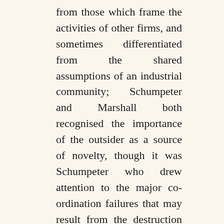from those which frame the activities of other firms, and sometimes differentiated from the shared assumptions of an industrial community; Schumpeter and Marshall both recognised the importance of the outsider as a source of novelty, though it was Schumpeter who drew attention to the major co-ordination failures that may result from the destruction of established knowledge.